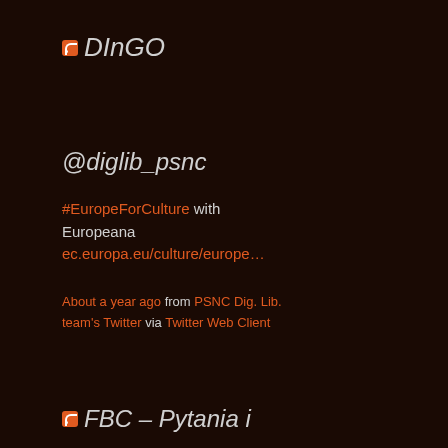DInGO
@diglib_psnc
#EuropeForCulture with Europeana ec.europa.eu/culture/europe…
About a year ago from PSNC Dig. Lib. team's Twitter via Twitter Web Client
[Figure (other): Follow @diglib_psnc Twitter button with 93 followers count badge]
FBC – Pytania i odpowiedzi